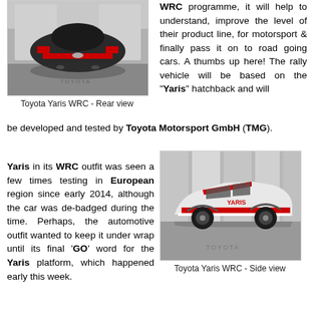[Figure (photo): Toyota Yaris WRC rear view in a studio/garage setting, car shown from behind in black and white with red accents]
Toyota Yaris WRC - Rear view
WRC programme, it will help to understand, improve the level of their product line, for motorsport & finally pass it on to road going cars. A thumbs up here! The rally vehicle will be based on the "Yaris" hatchback and will be developed and tested by Toyota Motorsport GmbH (TMG).
Yaris in its WRC outfit was seen a few times testing in European region since early 2014, although the car was de-badged during the time. Perhaps, the automotive outfit wanted to keep it under wrap until its final 'GO' word for the Yaris platform, which happened early this week.
[Figure (photo): Toyota Yaris WRC side view in a studio setting, showing red and white livery with YARIS branding]
Toyota Yaris WRC - Side view